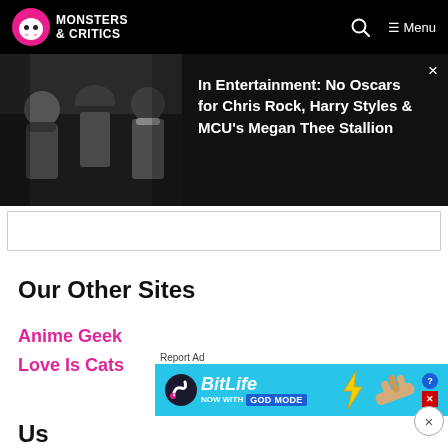Monsters & Critics — Navigation header with search and menu
[Figure (photo): Photo of people in dark winter clothing outdoors, one wearing a baseball cap]
In Entertainment: No Oscars for Chris Rock, Harry Styles & MCU's Megan Thee Stallion
Our Other Sites
Anime Geek
Love Is Cats
Us
[Figure (screenshot): BitLife advertisement banner — Now with GOD MODE]